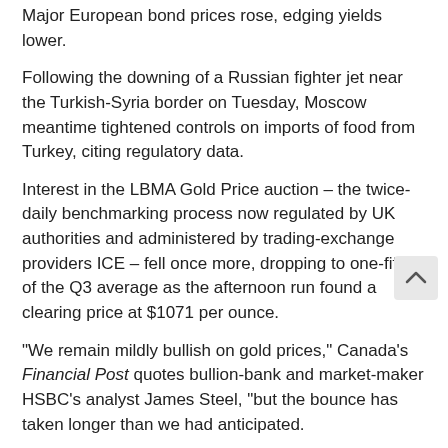Major European bond prices rose, edging yields lower.
Following the downing of a Russian fighter jet near the Turkish-Syria border on Tuesday, Moscow meantime tightened controls on imports of food from Turkey, citing regulatory data.
Interest in the LBMA Gold Price auction – the twice-daily benchmarking process now regulated by UK authorities and administered by trading-exchange providers ICE – fell once more, dropping to one-fifth of the Q3 average as the afternoon run found a clearing price at $1071 per ounce.
“We remain mildly bullish on gold prices,” Canada’s Financial Post quotes bullion-bank and market-maker HSBC’s analyst James Steel, “but the bounce has taken longer than we had anticipated.
“We believe that 2016 could see a more decisive recovery. Emerging market demand has already set a floor for gold prices, and we think buying from India and China is likely to increase.”
Gold’s price drop below $1080 saw “physical buying pick up notably,” says